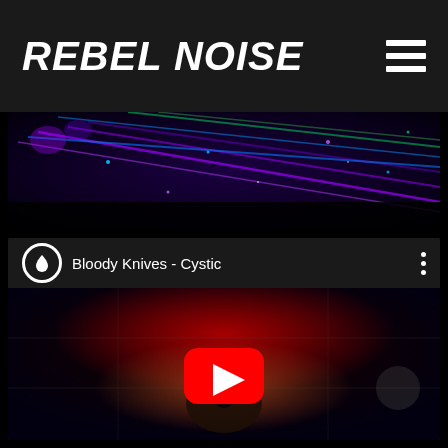REBEL NOISE
[Figure (photo): Concert stage photo with colorful laser beams — purple, blue, and green lights streaking across a dark venue]
[Figure (screenshot): YouTube video embed showing 'Bloody Knives - Cystic' with a dark atmospheric music video thumbnail featuring a person's face with red light emanating from their head, and a red YouTube play button overlaid in the center]